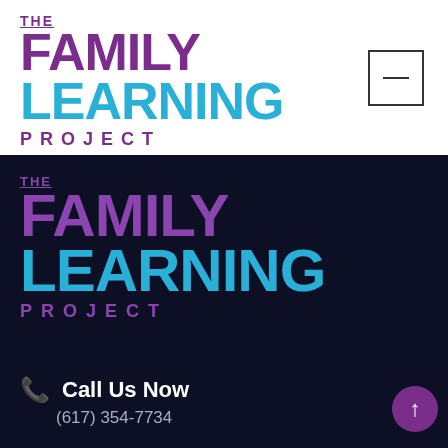[Figure (logo): The Family Learning Project logo — top white section. 'THE' in purple with underline, 'FAMILY' in large purple bold, 'LEARNING' in large cyan/blue bold, 'PROJECT' in purple spaced letters.]
[Figure (other): Square menu button with a horizontal minus/dash line inside, outlined border, top right corner.]
[Figure (logo): The Family Learning Project logo — bottom dark section. Same design: 'THE' in purple, 'FAMILY' in purple bold large, 'LEARNING' in cyan/blue bold large, 'PROJECT' in purple spaced letters.]
Call Us Now
(617) 354-7734